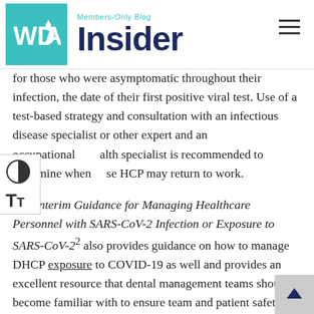WDA Insider — Members-Only Blog
for those who were asymptomatic throughout their infection, the date of their first positive viral test. Use of a test-based strategy and consultation with an infectious disease specialist or other expert and an occupational health specialist is recommended to determine when these HCP may return to work.
The Interim Guidance for Managing Healthcare Personnel with SARS-CoV-2 Infection or Exposure to SARS-CoV-2² also provides guidance on how to manage DHCP exposure to COVID-19 as well and provides an excellent resource that dental management teams should become familiar with to ensure team and patient safety. Part 2 in this blog series will discuss protocols related to